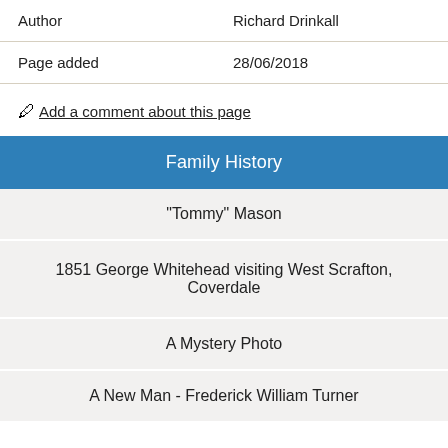| Author | Richard Drinkall |
| Page added | 28/06/2018 |
✎ Add a comment about this page
Family History
"Tommy" Mason
1851 George Whitehead visiting West Scrafton, Coverdale
A Mystery Photo
A New Man - Frederick William Turner